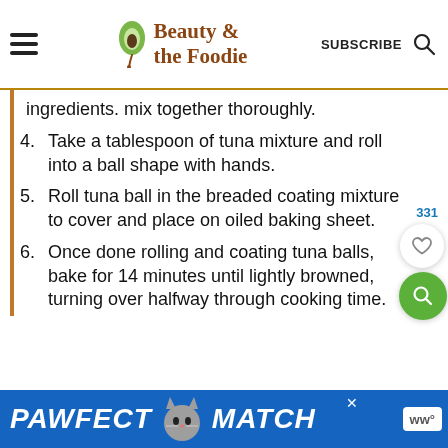Beauty & the Foodie
ingredients. mix together thoroughly.
4. Take a tablespoon of tuna mixture and roll into a ball shape with hands.
5. Roll tuna ball in the breaded coating mixture to cover and place on oiled baking sheet.
6. Once done rolling and coating tuna balls, bake for 14 minutes until lightly browned, turning over halfway through cooking time.
[Figure (screenshot): PAWFECT MATCH advertisement banner with cat image]